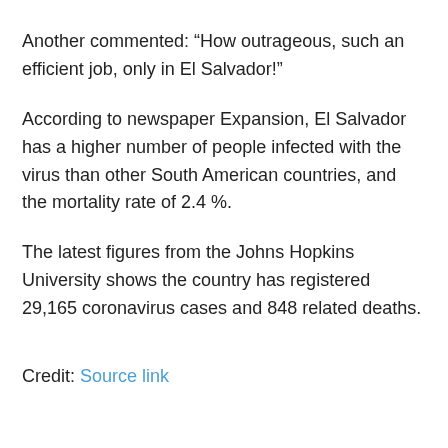Another commented: “How outrageous, such an efficient job, only in El Salvador!”
According to newspaper Expansion, El Salvador has a higher number of people infected with the virus than other South American countries, and the mortality rate of 2.4 %.
The latest figures from the Johns Hopkins University shows the country has registered 29,165 coronavirus cases and 848 related deaths.
Credit: Source link